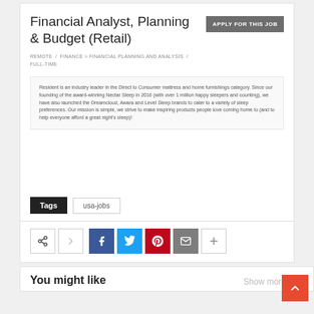Financial Analyst, Planning & Budget (Retail)
APPLY FOR THIS JOB
REMOTE / FINANCE > FINANCIAL PLANNING AND ANALYSIS / FULL-TIME
Resident is an industry leader in the Direct to Consumer mattress and home furnishings category. Since our founding of the award-winning Nectar Sleep in 2016 (with over 1 million happy sleepers and counting), we have also launched the Dreamcloud, Awara and Level Sleep brands to cater to a variety of sleep preferences. Our mission is simple, we strive to make inspiring products people love coming home to (and to help everyone afford a great night's sleep)!
Tags
usa-jobs
[Figure (other): Social sharing icons row: generic share icon, Facebook, Twitter, Pinterest, Email, plus button]
You might like
Show more